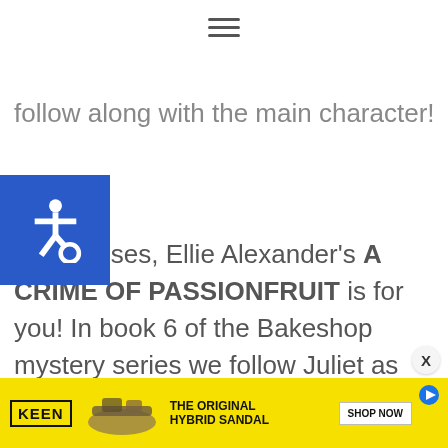[Figure (other): Hamburger menu icon (three horizontal lines) centered at top of page]
[Figure (other): Accessibility icon: white wheelchair symbol on blue square background]
follow along with the main character!
love cruises, Ellie Alexander's A CRIME OF PASSIONFRUIT is for you! In book 6 of the Bakeshop mystery series we follow Juliet as she leaves small town Ashland for a Caribbean cruise where she pinch hits as the head pastry chef. Lots of fun cruise ship
We use cookies on our website to give you the most relevant experience by remembering your preferences and repeat visits. By clicking “Accept”, you consent to the use of ALL the cookies.
Do not sell my personal information.
[Figure (other): Cookie consent banner with reject and accept buttons, and a close X button]
[Figure (other): Advertisement banner: KEEN brand, THE ORIGINAL HYBRID SANDAL, SHOP NOW button, yellow background]